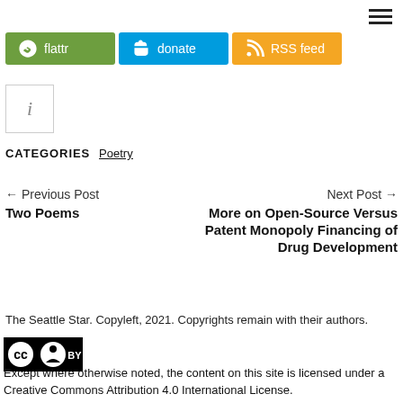[Figure (other): Hamburger menu icon (three horizontal lines) in top-right corner]
[Figure (infographic): Three social/support buttons: green 'flattr' button with Flattr icon, blue 'donate' button with PayPal icon, orange 'RSS feed' button with RSS icon]
[Figure (other): Information icon (letter i) inside a square border]
CATEGORIES   Poetry
← Previous Post
Two Poems
Next Post →
More on Open-Source Versus Patent Monopoly Financing of Drug Development
The Seattle Star. Copyleft, 2021. Copyrights remain with their authors.
[Figure (logo): Creative Commons CC BY badge — black background with CC and person icons]
Except where otherwise noted, the content on this site is licensed under a Creative Commons Attribution 4.0 International License.